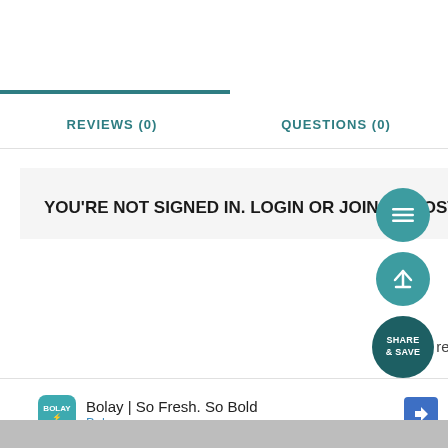REVIEWS (0)
QUESTIONS (0)
YOU'RE NOT SIGNED IN. LOGIN OR JOIN TO POST A REVIEW.
No reviews
[Figure (screenshot): Floating action buttons: menu (hamburger), scroll-to-top (arrow), and SHARE & SAVE circle buttons in teal/dark teal]
Bolay | So Fresh. So Bold
Bolay